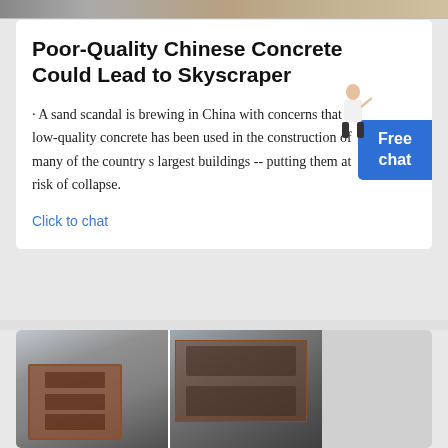[Figure (photo): Top banner image strip showing a partial construction or industrial scene in muted tones]
Poor-Quality Chinese Concrete Could Lead to Skyscraper
· A sand scandal is brewing in China with concerns that low-quality concrete has been used in the construction of many of the country s largest buildings -- putting them at risk of collapse.
Click to chat
[Figure (photo): Two industrial/manufacturing images side by side showing large metal structural components in a factory setting]